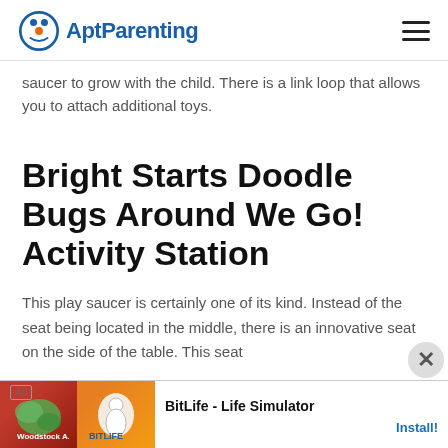AptParenting
saucer to grow with the child. There is a link loop that allows you to attach additional toys.
Bright Starts Doodle Bugs Around We Go! Activity Station
This play saucer is certainly one of its kind. Instead of the seat being located in the middle, there is an innovative seat on the side of the table. This seat
[Figure (other): Advertisement banner for BitLife - Life Simulator app with Ad label and Install button]